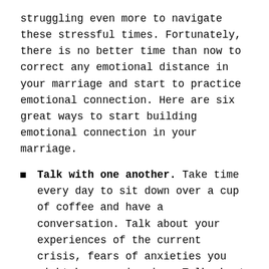struggling even more to navigate these stressful times. Fortunately, there is no better time than now to correct any emotional distance in your marriage and start to practice emotional connection. Here are six great ways to start building emotional connection in your marriage.
Talk with one another. Take time every day to sit down over a cup of coffee and have a conversation. Talk about your experiences of the current crisis, fears of anxieties you might be experiencing. Talk about how you will work together to navigate the current crisis. Enjoy simple small talk as well. Talk like you did when you were dating. Joke a little. Read a book together and talk about it. Talk about your plans for the coming years. Talk your hopes and